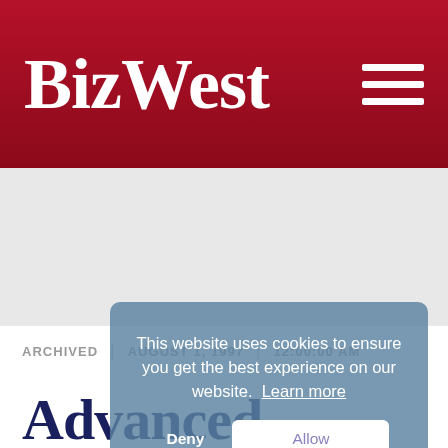BizWest
ARCHIVED | AUGUST 1, 1997 | 12:00:00 AM
Advanced Energy mulled busing workers from Wyo.
This website uses cookies to ensure you get the best experience on our website. Learn more
Deny | Allow